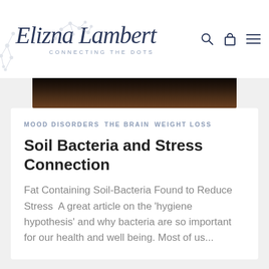Elizna Lambert — Connecting the Dots
[Figure (photo): Dark soil/earth close-up hero image strip]
MOOD DISORDERS  THE BRAIN  WEIGHT LOSS
Soil Bacteria and Stress Connection
Fat Containing Soil-Bacteria Found to Reduce Stress  A great article on the 'hygiene hypothesis' and why bacteria are so important for our health and well being. Most of us...